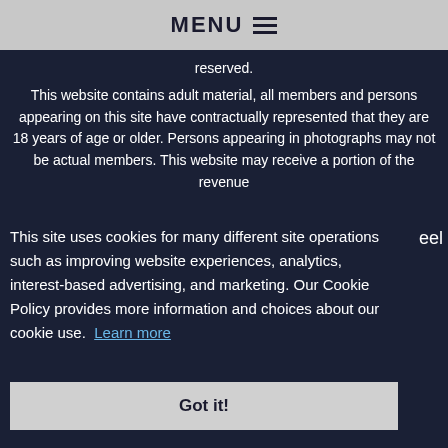MENU ☰
reserved.
This website contains adult material, all members and persons appearing on this site have contractually represented that they are 18 years of age or older. Persons appearing in photographs may not be actual members. This website may receive a portion of the revenue
This site uses cookies for many different site operations such as improving website experiences, analytics, interest-based advertising, and marketing. Our Cookie Policy provides more information and choices about our cookie use. Learn more
Got it!